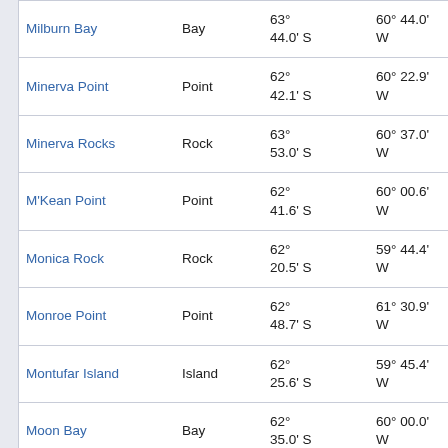| Name | Type | Latitude | Longitude | Elevation |
| --- | --- | --- | --- | --- |
| Milburn Bay | Bay | 63° 44.0' S | 60° 44.0' W | 85.3 at 18 |
| Minerva Point | Point | 62° 42.1' S | 60° 22.9' W | 33.6 at 29 |
| Minerva Rocks | Rock | 63° 53.0' S | 60° 37.0' W | 102.1 at 17 |
| M'Kean Point | Point | 62° 41.6' S | 60° 00.6' W | 46.4 at 49 |
| Monica Rock | Rock | 62° 20.5' S | 59° 44.4' W | 85.0 at 36 |
| Monroe Point | Point | 62° 48.7' S | 61° 30.9' W | 44.8 at 29 |
| Montufar Island | Island | 62° 25.6' S | 59° 45.4' W | 76.9 at 39 |
| Moon Bay | Bay | 62° 35.0' S | 60° 00.0' W | 55.5 at 40 |